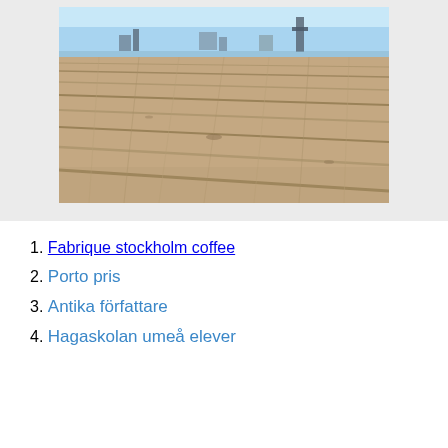[Figure (photo): Close-up photograph of weathered wooden dock boards with a waterfront and buildings visible in the blurred background under a blue sky.]
1. Fabrique stockholm coffee
2. Porto pris
3. Antika författare
4. Hagaskolan umeå elever